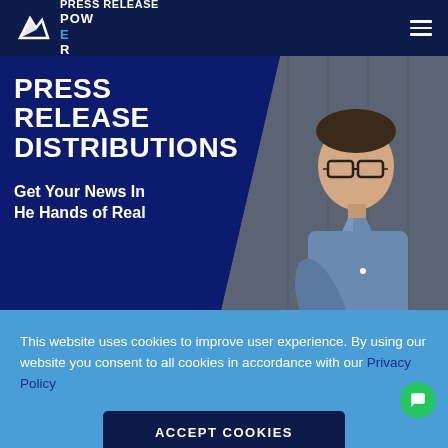Press Release POWER
[Figure (photo): Hero banner with dark blue background showing bold white uppercase text 'PRESS RELEASE DISTRIBUTIONS' and below it 'Get Your News In He Hands of Real' with a photo of a young man wearing glasses and a denim shirt looking down, reading something]
This website uses cookies to improve user experience. By using our website you consent to all cookies in accordance with our Privacy Policy
ACCEPT COOKIES